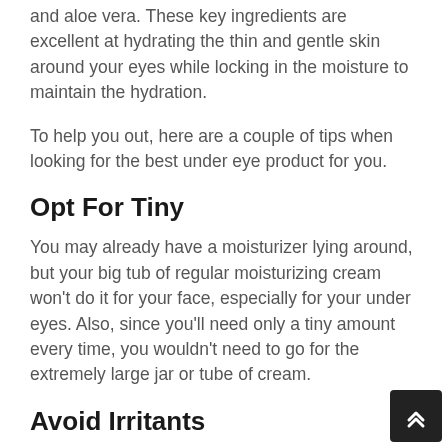and aloe vera. These key ingredients are excellent at hydrating the thin and gentle skin around your eyes while locking in the moisture to maintain the hydration.
To help you out, here are a couple of tips when looking for the best under eye product for you.
Opt For Tiny
You may already have a moisturizer lying around, but your big tub of regular moisturizing cream won't do it for your face, especially for your under eyes. Also, since you'll need only a tiny amount every time, you wouldn't need to go for the extremely large jar or tube of cream.
Avoid Irritants